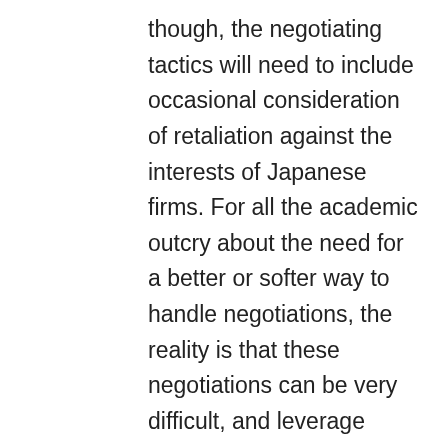though, the negotiating tactics will need to include occasional consideration of retaliation against the interests of Japanese firms. For all the academic outcry about the need for a better or softer way to handle negotiations, the reality is that these negotiations can be very difficult, and leverage matters. Japanese government officials attempting to deflect American pressure on market access approach their negotiating task with the same dedication and effort that the U.S. government put into arms negotiations